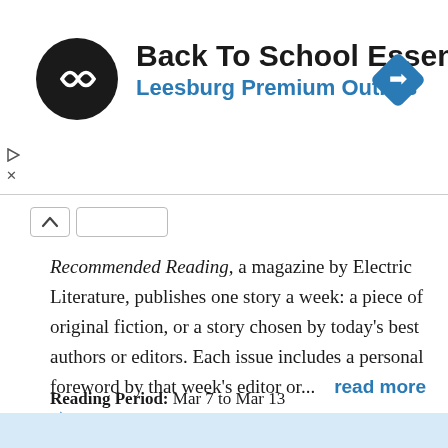[Figure (other): Advertisement banner: Back To School Essentials at Leesburg Premium Outlets, with a circular logo and navigation arrow icon]
Recommended Reading, a magazine by Electric Literature, publishes one story a week: a piece of original fiction, or a story chosen by today's best authors or editors. Each issue includes a personal foreword by that week's editor or...   read more ➔
Reading Period:  Mar 7 to Mar 13
Genre:  Fiction
Genres:  Literary Fiction